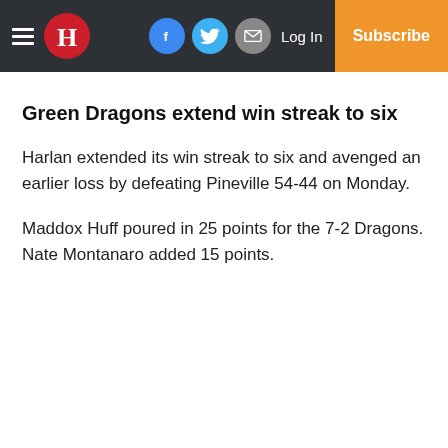H | [Facebook] [Twitter] [Email] Log In Subscribe
Green Dragons extend win streak to six
Harlan extended its win streak to six and avenged an earlier loss by defeating Pineville 54-44 on Monday.
Maddox Huff poured in 25 points for the 7-2 Dragons. Nate Montanaro added 15 points.